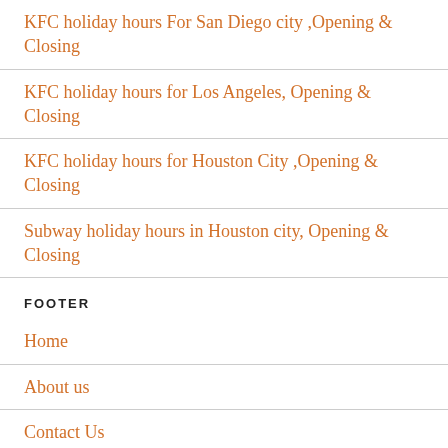KFC holiday hours For San Diego city ,Opening & Closing
KFC holiday hours for Los Angeles, Opening & Closing
KFC holiday hours for Houston City ,Opening & Closing
Subway holiday hours in Houston city, Opening & Closing
FOOTER
Home
About us
Contact Us